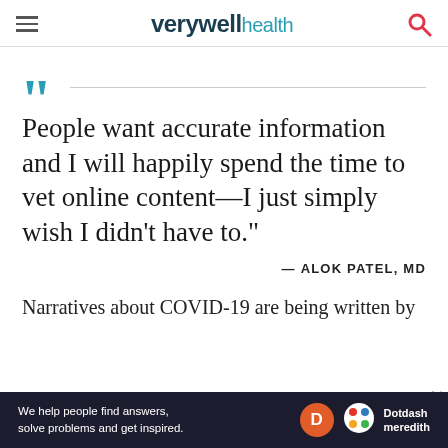verywell health
People want accurate information and I will happily spend the time to vet online content—I just simply wish I didn't have to." — ALOK PATEL, MD
Narratives about COVID-19 are being written by
We help people find answers, solve problems and get inspired. Dotdash meredith